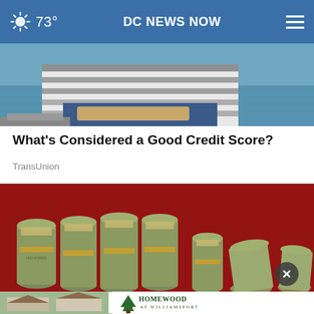73° DC NEWS NOW
[Figure (photo): Partial view of a person on a boat near water, showing torso in striped shirt and jeans with rope]
What's Considered a Good Credit Score?
TransUnion
[Figure (photo): Multiple rolls of US hundred dollar bills bundled together on a red background]
[Figure (photo): Homewood at Williamsport advertisement banner showing houses and trees]